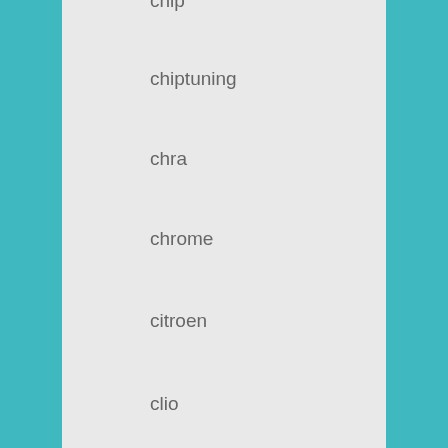chip
chiptuning
chra
chrome
citroen
clio
clutch
coffee
comline
common
compact
comparatif
compass